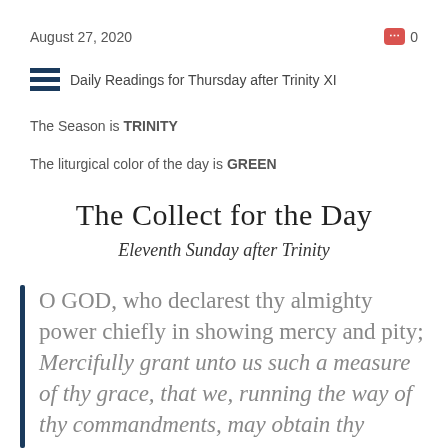August 27, 2020
Daily Readings for Thursday after Trinity XI
The Season is TRINITY
The liturgical color of the day is GREEN
The Collect for the Day
Eleventh Sunday after Trinity
O GOD, who declarest thy almighty power chiefly in showing mercy and pity; Mercifully grant unto us such a measure of thy grace, that we, running the way of thy commandments, may obtain thy